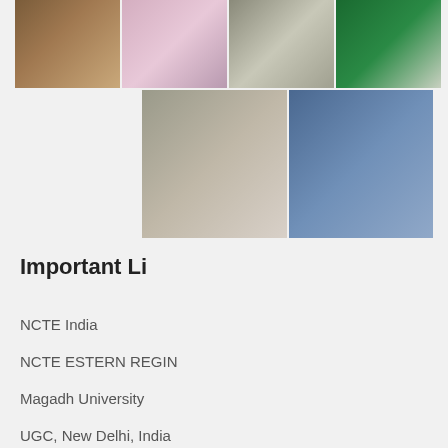[Figure (photo): Grid of 6 photos showing college events, students, and building]
Important Li
NCTE India
NCTE ESTERN REGIN
Magadh University
UGC, New Delhi, India
Contact Us